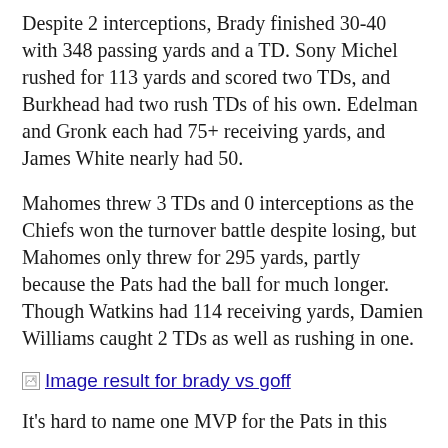Despite 2 interceptions, Brady finished 30-40 with 348 passing yards and a TD.  Sony Michel rushed for 113 yards and scored two TDs, and Burkhead had two rush TDs of his own.  Edelman and Gronk each had 75+ receiving yards, and James White nearly had 50.
Mahomes threw 3 TDs and 0 interceptions as the Chiefs won the turnover battle despite losing, but Mahomes only threw for 295 yards, partly because the Pats had the ball for much longer.  Though Watkins had 114 receiving yards, Damien Williams caught 2 TDs as well as rushing in one.
[Figure (other): Broken image placeholder with link text: Image result for brady vs goff]
It's hard to name one MVP for the Pats in this